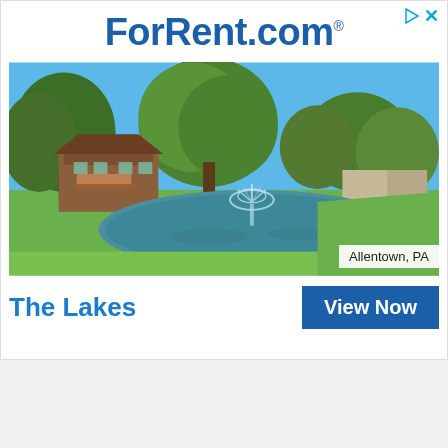[Figure (logo): ForRent.com logo in bold dark blue text with registered trademark symbol]
[Figure (photo): Outdoor photo of The Lakes apartment community in Allentown PA, featuring a pond with a fountain, green lawn, large trees, and brick residential buildings under a clear blue sky]
Allentown, PA
The Lakes
View Now